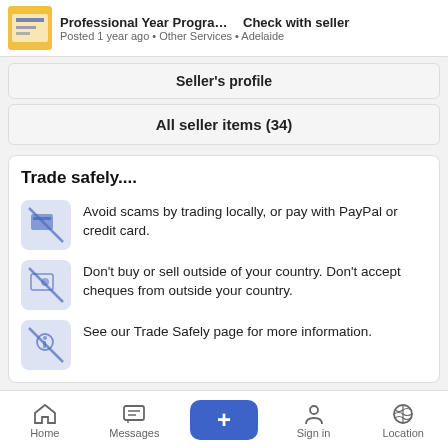Professional Year Program-A...   Check with seller
Posted 1 year ago • Other Services • Adelaide
Seller's profile
All seller items (34)
Trade safely....
Avoid scams by trading locally, or pay with PayPal or credit card.
Don't buy or sell outside of your country. Don't accept cheques from outside your country.
See our Trade Safely page for more information.
🚩 Report listing
Related li...
Home   Messages   +   Sign in   Location